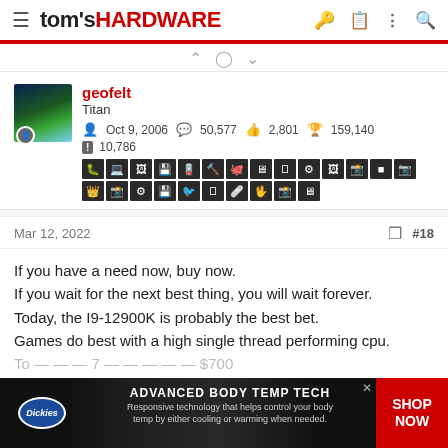tom's HARDWARE
geofelt
Titan
Oct 9, 2006  50,577  2,801  159,140
10,786
Mar 12, 2022  #18
If you have a need now, buy now.
If you wait for the next best thing, you will wait forever.
Today, the I9-12900K is probably the best bet.
Games do best with a high single thread performing cpu.
[Figure (infographic): Dickies advertisement banner: ADVANCED BODY TEMP TECH - Responsive technology that helps control your body temp by either cooling or warming when needed. SHOP NOW button on right.]